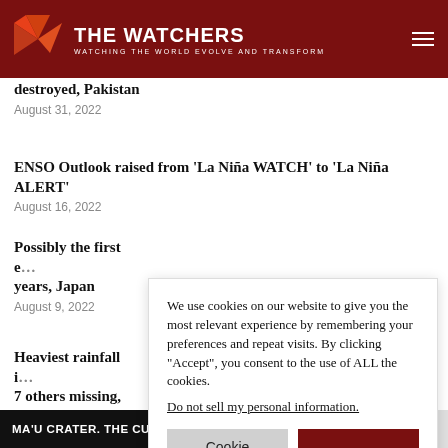THE WATCHERS — WATCHING THE WORLD EVOLVE AND TRANSFORM
destroyed, Pakistan
August 31, 2022
ENSO Outlook raised from ‘La Niña WATCH’ to ‘La Niña ALERT’
August 16, 2022
Possibly the first e… years, Japan
August 9, 2022
Heaviest rainfall i… 7 others missing, S…
August 9, 2022
We use cookies on our website to give you the most relevant experience by remembering your preferences and repeat visits. By clicking “Accept”, you consent to the use of ALL the cookies.
Do not sell my personal information.
MA’U CRATER. THE CURRENT SITUATIONS ARE ...